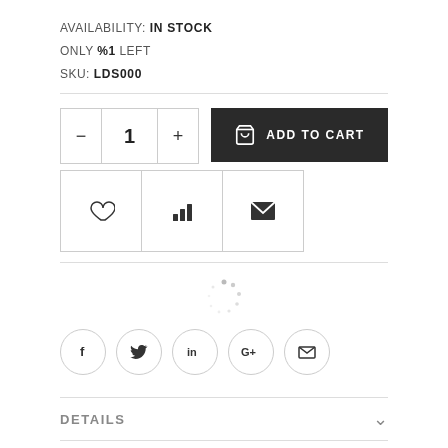AVAILABILITY: IN STOCK
ONLY %1 LEFT
SKU: LDS000
[Figure (screenshot): E-commerce product page UI showing quantity selector, Add to Cart button, wishlist/compare/email icons, loading spinner, social share buttons (f, twitter, linkedin, G+, email), a DETAILS accordion section, and product description text.]
The 24V Pixel-Free LED Strip Light is a 5 Meter (16.4ft) half dome profile that diffuses light evenly over 160°